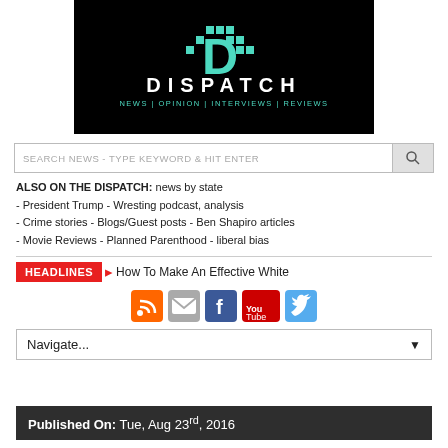[Figure (logo): Dispatch news website logo — black background with cyan/teal D letter made of pixel squares, DISPATCH in white bold letters, NEWS | OPINION | INTERVIEWS | REVIEWS in teal below]
SEARCH NEWS - TYPE KEYWORD & HIT ENTER
ALSO ON THE DISPATCH: news by state
- President Trump - Wresting podcast, analysis
- Crime stories - Blogs/Guest posts - Ben Shapiro articles
- Movie Reviews - Planned Parenthood - liberal bias
HEADLINES How To Make An Effective White
[Figure (infographic): Social media icons: RSS (orange), email (grey), Facebook (blue), YouTube (red), Twitter (blue)]
Navigate...
Published On: Tue, Aug 23rd, 2016